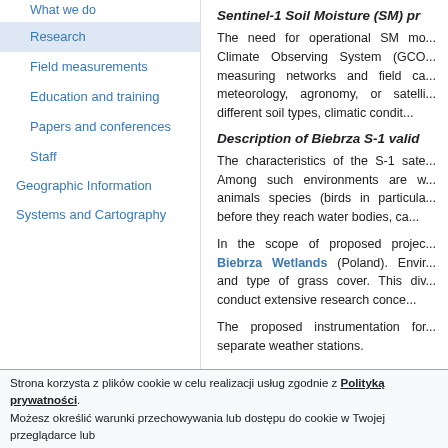What we do
Research
Field measurements
Education and training
Papers and conferences
Staff
Geographic Information
Systems and Cartography
Sentinel-1 Soil Moisture (SM) pr
The need for operational SM mo... Climate Observing System (GCO... measuring networks and field ca... meteorology, agronomy, or satelli... different soil types, climatic condit...
Description of Biebrza S-1 valid
The characteristics of the S-1 sate... Among such environments are w... animals species (birds in particula... before they reach water bodies, ca...
In the scope of proposed projec... Biebrza Wetlands (Poland). Envir... and type of grass cover. This div... conduct extensive research conce...
The proposed instrumentation for... separate weather stations.
Strona korzysta z plików cookie w celu realizacji usług zgodnie z Polityką prywatności. Możesz określić warunki przechowywania lub dostępu do cookie w Twojej przeglądarce lub